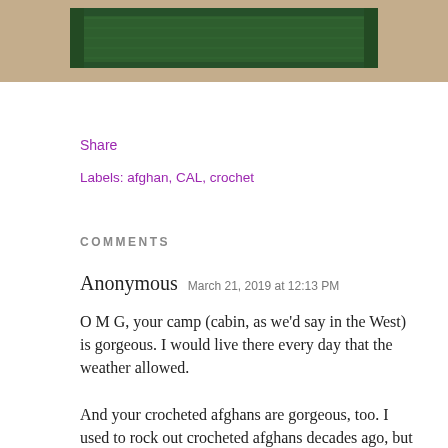[Figure (photo): Photo of a green crocheted item (afghan/mat) on a tan/burlap background, cropped at top of page]
Share
Labels: afghan, CAL, crochet
COMMENTS
Anonymous   March 21, 2019 at 12:13 PM
O M G, your camp (cabin, as we'd say in the West) is gorgeous. I would live there every day that the weather allowed.

And your crocheted afghans are gorgeous, too. I used to rock out crocheted afghans decades ago, but no more - I'd saturated my market of friends